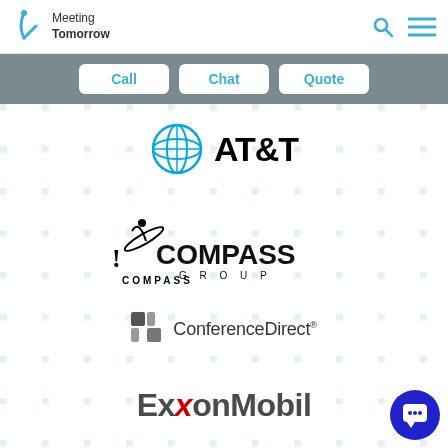Meeting Tomorrow
[Figure (logo): Meeting Tomorrow logo with arrow icon]
[Figure (infographic): Navigation buttons: Call, Chat, Quote on grey bar]
[Figure (logo): AT&T logo]
[Figure (logo): Compass Group logo]
[Figure (logo): ConferenceDirect logo]
[Figure (logo): ExxonMobil logo]